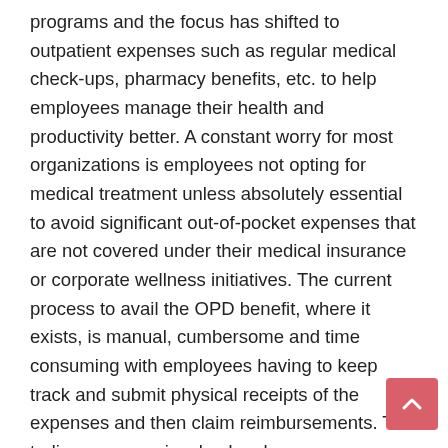programs and the focus has shifted to outpatient expenses such as regular medical check-ups, pharmacy benefits, etc. to help employees manage their health and productivity better. A constant worry for most organizations is employees not opting for medical treatment unless absolutely essential to avoid significant out-of-pocket expenses that are not covered under their medical insurance or corporate wellness initiatives. The current process to avail the OPD benefit, where it exists, is manual, cumbersome and time consuming with employees having to keep track and submit physical receipts of the expenses and then claim reimbursements. The tedious process involved makes many employees not use the benefit at all.